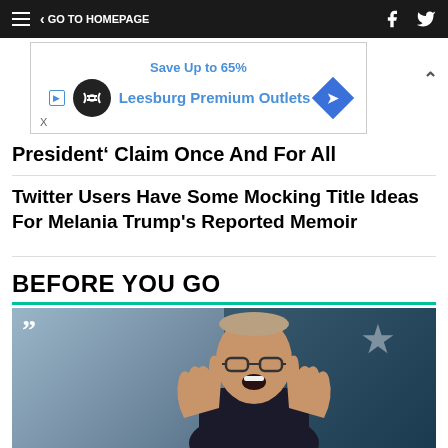≡ < GO TO HOMEPAGE
[Figure (other): Advertisement banner for Leesburg Premium Outlets showing 'Save Up to 65%']
President' Claim Once And For All
Twitter Users Have Some Mocking Title Ideas For Melania Trump's Reported Memoir
BEFORE YOU GO
[Figure (photo): Photo of Rudy Giuliani shouting with hands raised, wearing glasses and a suit, with a quote mark overlay in top left corner]